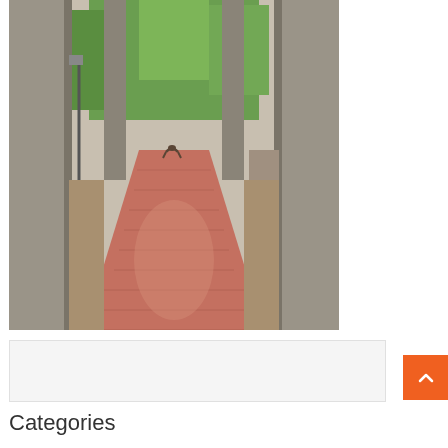[Figure (photo): A person doing a backbend on a red brick pathway flanked by large stone columns and arches, with green trees visible in the background through an archway opening.]
[Figure (other): Orange scroll-to-top button with upward chevron arrow icon in the bottom-right area.]
Categories